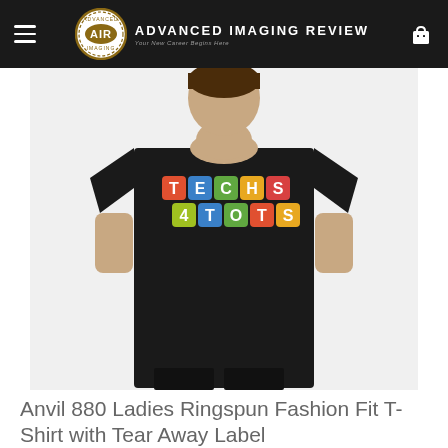ADVANCED IMAGING REVIEW — Your New Career Begins Here
[Figure (photo): Woman wearing a black Anvil 880 ladies fashion fit t-shirt with a colorful 'Techs 4 Tots' logo on the chest. Logo features block letters in red, blue, yellow, and green.]
Anvil 880 Ladies Ringspun Fashion Fit T-Shirt with Tear Away Label